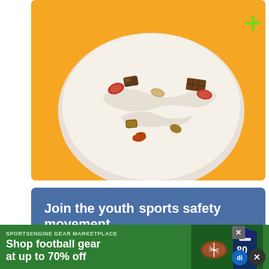[Figure (photo): Food advertisement showing a white bowl filled with yogurt/cream topped with almonds, chocolate pieces, and other nuts and mix-ins on an orange background with a green plus symbol in the upper right corner.]
Join the youth sports safety movement
Keeping kids safe from harm requires everyone to be ready and willing to take fast action. Join us on our mission to keep
[Figure (photo): SportsEngine Gear Marketplace advertisement banner with green background showing text 'Shop football gear at up to 70% off' with a football and a player wearing jersey number 80.]